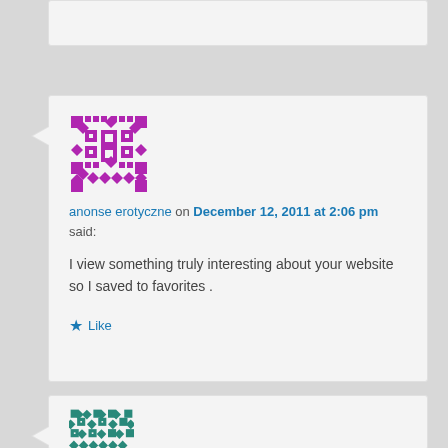[Figure (illustration): Purple identicon avatar image for user 'anonse erotyczne']
anonse erotyczne on December 12, 2011 at 2:06 pm said:
I view something truly interesting about your website so I saved to favorites .
Like
[Figure (illustration): Teal identicon avatar image for user 'malaysia']
malaysia on December 12, 2011 at 1:45 pm said: